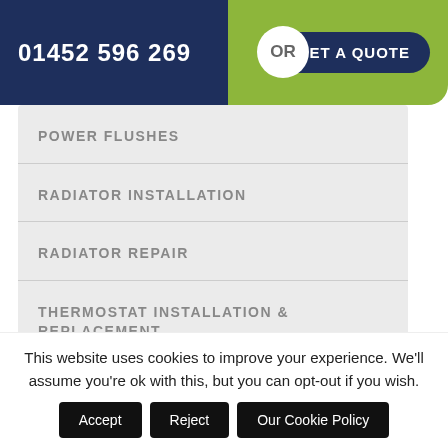01452 596 269 OR GET A QUOTE
POWER FLUSHES
RADIATOR INSTALLATION
RADIATOR REPAIR
THERMOSTAT INSTALLATION & REPLACEMENT
This website uses cookies to improve your experience. We'll assume you're ok with this, but you can opt-out if you wish.
Accept
Reject
Our Cookie Policy